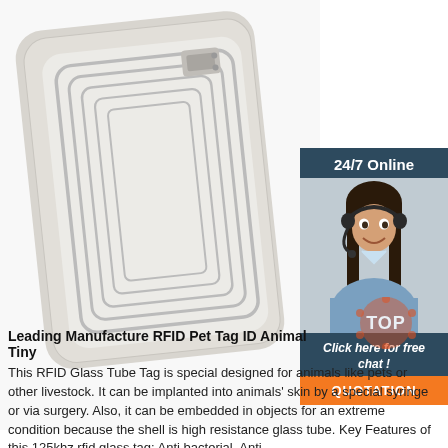[Figure (photo): RFID inlay/label tag — square white label with rectangular spiral antenna, photographed on white background.]
[Figure (infographic): 24/7 Online chat widget with a customer service representative wearing a headset, dark blue background, with 'Click here for free chat!' text and orange QUOTATION button.]
Leading Manufacture RFID Pet Tag ID Animal Tiny
This RFID Glass Tube Tag is special designed for animals like pets or other livestock. It can be implanted into animals' skin by a special syringe or via surgery. Also, it can be embedded in objects for an extreme condition because the shell is high resistance glass tube. Key Features of this 125khz rfid glass tag: Anti bacterial, Anti ...